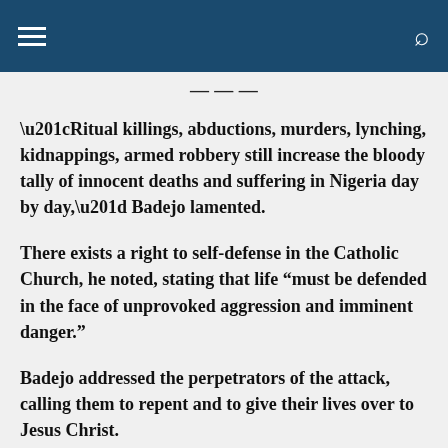[hamburger menu] [search icon]
“Ritual killings, abductions, murders, lynching, kidnappings, armed robbery still increase the bloody tally of innocent deaths and suffering in Nigeria day by day,” Badejo lamented.
There exists a right to self-defense in the Catholic Church, he noted, stating that life “must be defended in the face of unprovoked aggression and imminent danger.”
Badejo addressed the perpetrators of the attack, calling them to repent and to give their lives over to Jesus Christ.